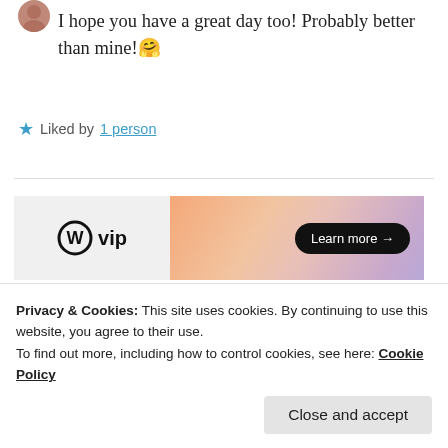I hope you have a great day too! Probably better than mine! 🤗
★ Liked by 1 person
[Figure (other): WordPress VIP advertisement banner with gradient background and 'Learn more →' button]
REPORT THIS AD
THATAMBITIOUSINTROVERT
Privacy & Cookies: This site uses cookies. By continuing to use this website, you agree to their use.
To find out more, including how to control cookies, see here: Cookie Policy
Close and accept